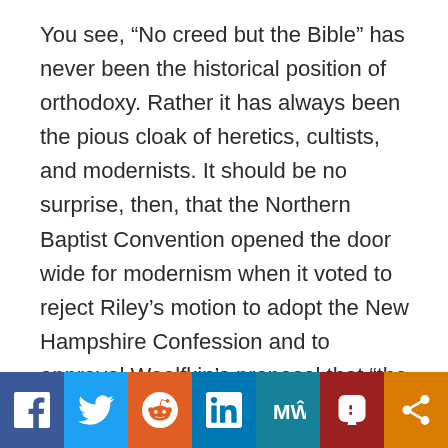You see, “No creed but the Bible” has never been the historical position of orthodoxy. Rather it has always been the pious cloak of heretics, cultists, and modernists. It should be no surprise, then, that the Northern Baptist Convention opened the door wide for modernism when it voted to reject Riley’s motion to adopt the New Hampshire Confession and to approval Woelfkin’s proposal that “the New Testament is the all-sufficient ground of our faith and practice.” That denomination has since become apostate.²59
[Figure (other): Social media sharing buttons bar: Facebook (blue), Twitter (light blue), Reddit (orange), LinkedIn (dark blue), MeWe (teal), Parler (dark red), Share (amber/orange)]